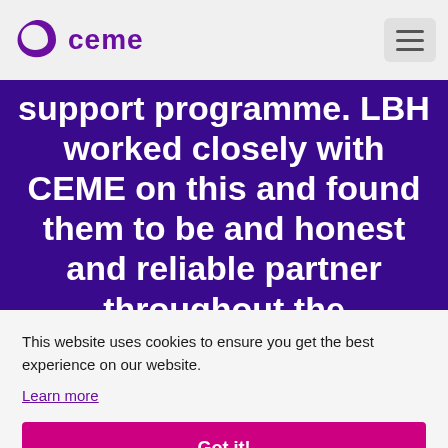CEME
support programme. LBH worked closely with CEME on this and found them to be and honest and reliable partner throughout the programme delivery. It is particularly
This website uses cookies to ensure you get the best experience on our website.
Learn more
Got it!
ng
from this 3 year project